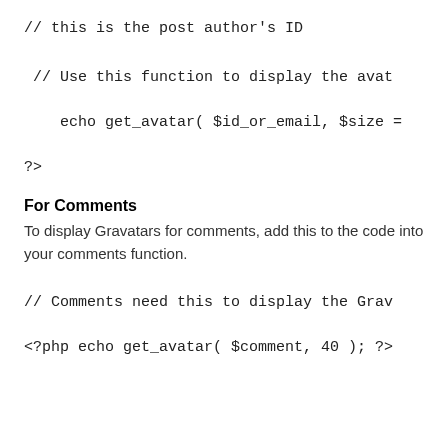// this is the post author's ID
// Use this function to display the avat
    echo get_avatar( $id_or_email, $size =
?>
For Comments
To display Gravatars for comments, add this to the code into your comments function.
// Comments need this to display the Grav
<?php echo get_avatar( $comment, 40 ); ?>